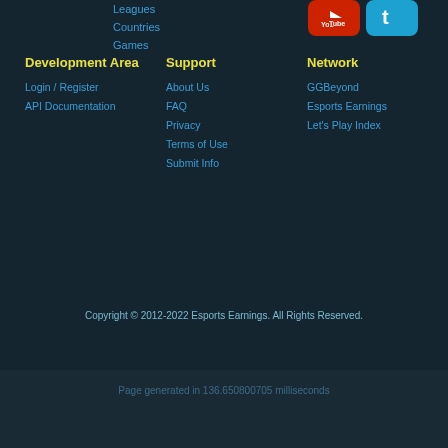Leagues
Countries
Games
Development Area
Login / Register
API Documentation
Support
About Us
FAQ
Privacy
Terms of Use
Submit Info
Network
GGBeyond
Esports Earnings
Let's Play Index
Copyright © 2012-2022 Esports Earnings. All Rights Reserved.
Page generated in 136.650800705 milliseconds